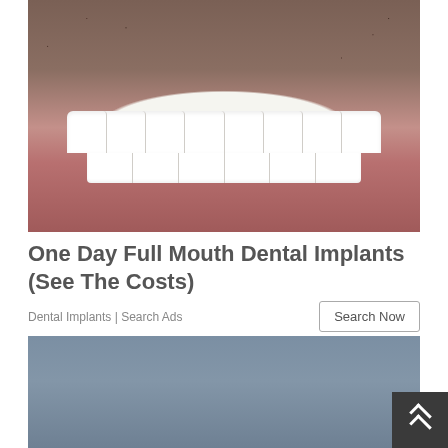[Figure (photo): Close-up photo of a man's mouth showing full set of white dental implants/veneers with visible stubble facial hair]
One Day Full Mouth Dental Implants (See The Costs)
Dental Implants | Search Ads
[Figure (photo): Partial view of a second advertisement image showing a blue-gray sky background]